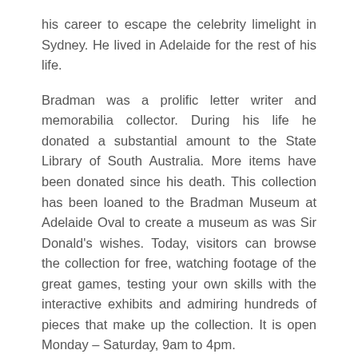his career to escape the celebrity limelight in Sydney. He lived in Adelaide for the rest of his life.
Bradman was a prolific letter writer and memorabilia collector. During his life he donated a substantial amount to the State Library of South Australia. More items have been donated since his death. This collection has been loaned to the Bradman Museum at Adelaide Oval to create a museum as was Sir Donald's wishes. Today, visitors can browse the collection for free, watching footage of the great games, testing your own skills with the interactive exhibits and admiring hundreds of pieces that make up the collection. It is open Monday – Saturday, 9am to 4pm.